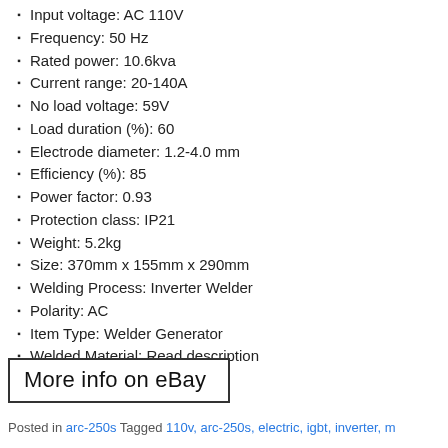Input voltage: AC 110V
Frequency: 50 Hz
Rated power: 10.6kva
Current range: 20-140A
No load voltage: 59V
Load duration (%): 60
Electrode diameter: 1.2-4.0 mm
Efficiency (%): 85
Power factor: 0.93
Protection class: IP21
Weight: 5.2kg
Size: 370mm x 155mm x 290mm
Welding Process: Inverter Welder
Polarity: AC
Item Type: Welder Generator
Welded Material: Read description
More info on eBay
Posted in arc-250s Tagged 110v, arc-250s, electric, igbt, inverter, m